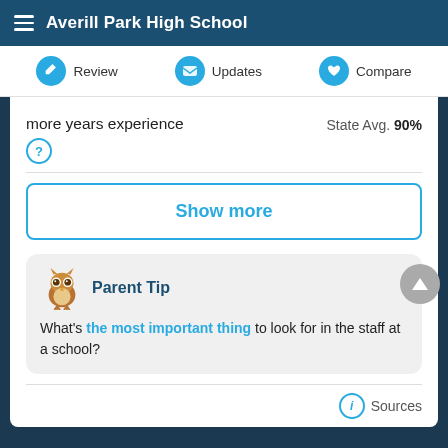Averill Park High School
Review | Updates | Compare
more years experience  State Avg. 90%
Show more
Parent Tip
What's the most important thing to look for in the staff at a school?
Sources